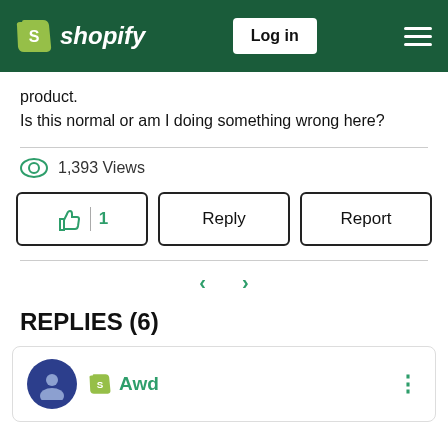Shopify — Log in
product.
Is this normal or am I doing something wrong here?
1,393 Views
👍 1  |  Reply  |  Report
< >
REPLIES (6)
Awd